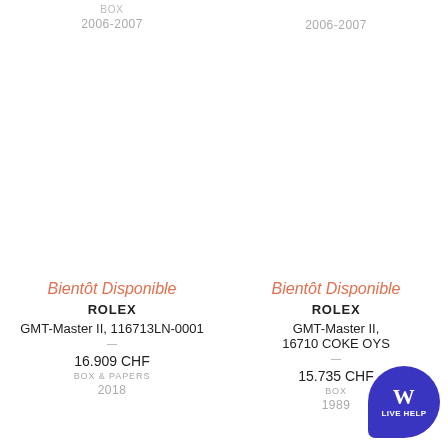BOX
2006-2007
2006-2007
Bientôt Disponible
ROLEX
GMT-Master II, 116713LN-0001
16.909 CHF
BOX & PAPERS
2018
Bientôt Disponible
ROLEX
GMT-Master II, 16710 COKE OYS
15.735 CHF
BOX
1989